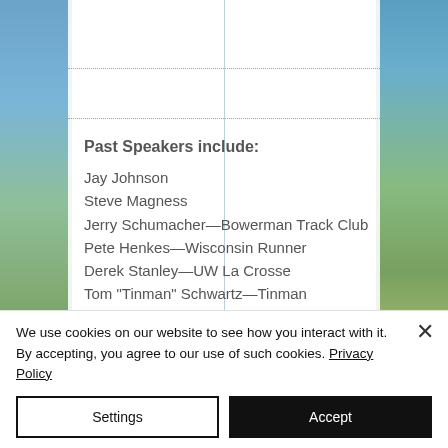[Figure (photo): Background photo split with blue sky and trees/field on left and right sides, white semi-transparent panel in center]
Past Speakers include:
Jay Johnson
Steve Magness
Jerry Schumacher—Bowerman Track Club
Pete Henkes—Wisconsin Runner
Derek Stanley—UW La Crosse
Tom "Tinman" Schwartz—Tinman Endurance Coaching
We use cookies on our website to see how you interact with it. By accepting, you agree to our use of such cookies. Privacy Policy
Settings | Accept